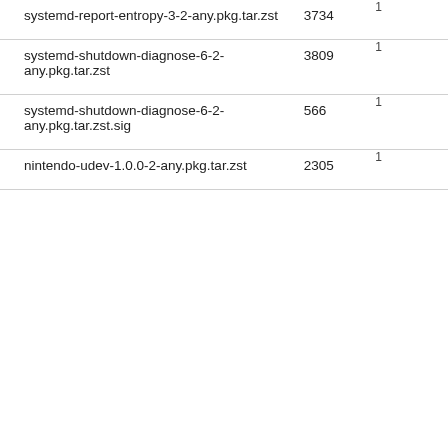| Filename | Size |  |
| --- | --- | --- |
| systemd-report-entropy-3-2-any.pkg.tar.zst | 3734 | 1... |
| systemd-shutdown-diagnose-6-2-any.pkg.tar.zst | 3809 | 1... |
| systemd-shutdown-diagnose-6-2-any.pkg.tar.zst.sig | 566 | 1... |
| nintendo-udev-1.0.0-2-any.pkg.tar.zst | 2305 | 1... |